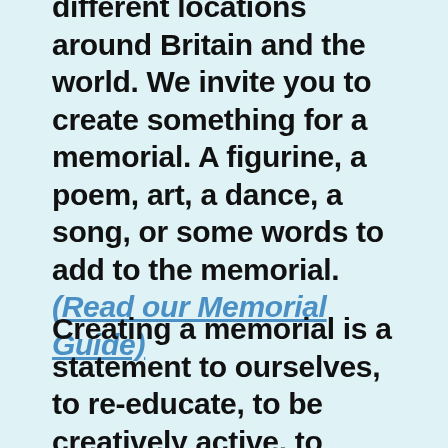different locations around Britain and the world. We invite you to create something for a memorial. A figurine, a poem, art, a dance, a song, or some words to add to the memorial. (Read our Memorial Guide)
Creating a memorial is a statement to ourselves, to re-educate, to be creatively active, to examine our conditioning and in doing so, evolve more